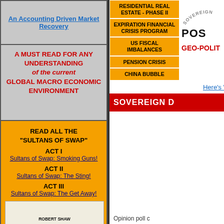An Accounting Driven Market Recovery
A MUST READ FOR ANY UNDERSTANDING of the current GLOBAL MACRO ECONOMIC ENVIRONMENT
READ ALL THE "SULTANS OF SWAP"

ACT I
Sultans of Swap: Smoking Guns!
ACT II
Sultans of Swap: The Sting!
ACT III
Sultans of Swap: The Get Away!
[Figure (photo): Movie poster for The Sting featuring Paul Newman, Robert Redford, Robert Shaw]
RESIDENTIAL REAL ESTATE - PHASE II
EXPIRATION FINANCIAL CRISIS PROGRAM
US FISCAL IMBALANCES
PENSION CRISIS
CHINA BUBBLE
SOVEREIGN
POS
GEO-POLIT
Here's W
SOVEREIGN D
Opinion poll c